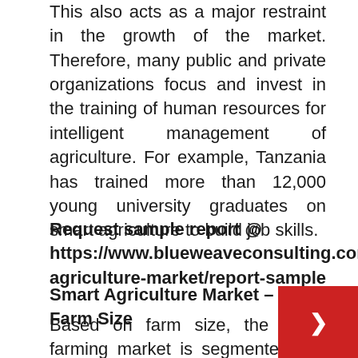This also acts as a major restraint in the growth of the market. Therefore, many public and private organizations focus and invest in the training of human resources for intelligent management of agriculture. For example, Tanzania has trained more than 12,000 young university graduates on smart agriculture to build job skills.
Request sample report @ https://www.blueweaveconsulting.com/report/smart-agriculture-market/report-sample
Smart Agriculture Market – By Farm Size
Based on farm size, the smart farming market is segmented into small, medium and large f… Mid-sized farms account for the largest m… share due to high ownership in this type of land